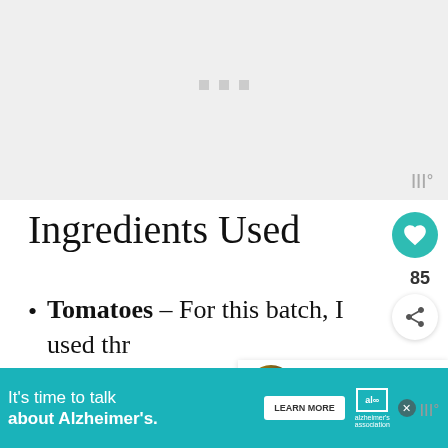[Figure (other): Large image placeholder with light gray background and three small gray dots in the center, with a Ww° logo in the bottom right corner]
Ingredients Used
Tomatoes – For this batch, I used thr medium to large tomatoes. We found them at the local Farmer's Mar they were perfectly ripe
[Figure (other): WHAT'S NEXT → Summer Pasta Salad thumbnail with circular food image]
[Figure (other): Advertisement banner: It's time to talk about Alzheimer's. LEARN MORE button, Alzheimer's association logo]